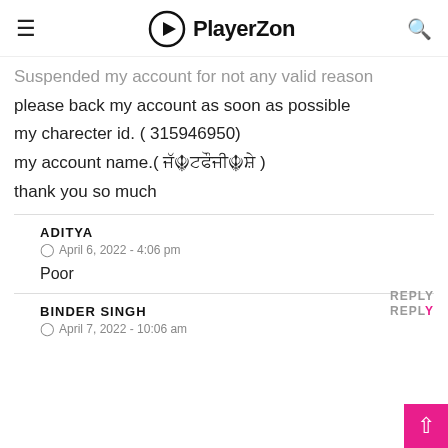PlayerZon
Suspended my account for not any valid reason please back my account as soon as possible my charecter id. ( 315946950) my account name.( ਜੱ☬ਟਫੌਜੀ☬ਸ਼ੇ ) thank you so much
ADITYA
April 6, 2022 - 4:06 pm
Poor
BINDER SINGH
April 7, 2022 - 10:06 am